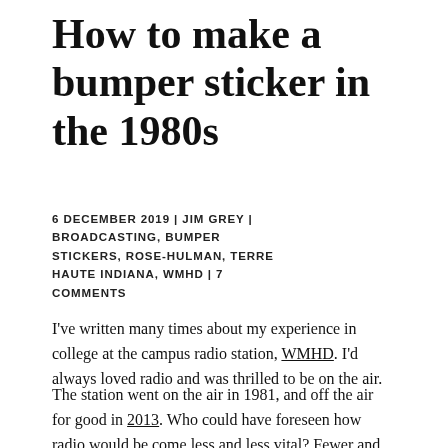How to make a bumper sticker in the 1980s
6 DECEMBER 2019 | JIM GREY | BROADCASTING, BUMPER STICKERS, ROSE-HULMAN, TERRE HAUTE INDIANA, WMHD | 7 COMMENTS
I've written many times about my experience in college at the campus radio station, WMHD. I'd always loved radio and was thrilled to be on the air.
The station went on the air in 1981, and off the air for good in 2013. Who could have foreseen how radio would be come less and less vital? Fewer and fewer students wanted to be on the air, and finally the school threw in the towel.